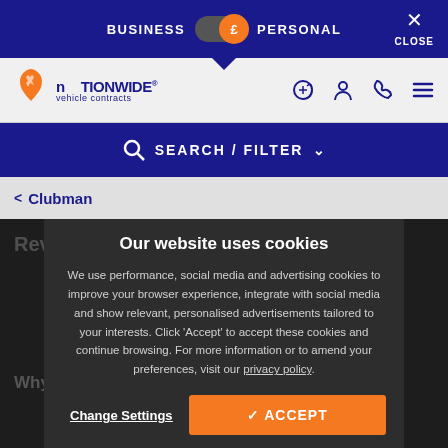BUSINESS £ PERSONAL CLOSE
[Figure (logo): Nationwide Vehicle Contracts logo with orange UK map icon]
SEARCH / FILTER
< Clubman
Our website uses cookies
We use performance, social media and advertising cookies to improve your browser experience, integrate with social media and show relevant, personalised advertisements tailored to your interests. Click 'Accept' to accept these cookies and continue browsing. For more information or to amend your preferences, visit our privacy policy.
Change Settings
✓ ACCEPT